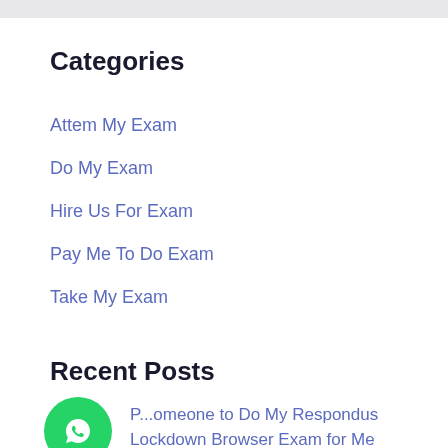Categories
Attem My Exam
Do My Exam
Hire Us For Exam
Pay Me To Do Exam
Take My Exam
Recent Posts
P...omeone to Do My Respondus Lockdown Browser Exam for Me